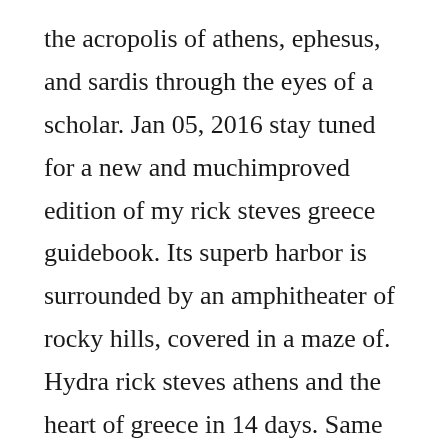the acropolis of athens, ephesus, and sardis through the eyes of a scholar. Jan 05, 2016 stay tuned for a new and muchimproved edition of my rick steves greece guidebook. Its superb harbor is surrounded by an amphitheater of rocky hills, covered in a maze of. Hydra rick steves athens and the heart of greece in 14 days. Same traditions, food, stereotypes and i know them all. The tensions around the islands renewed in january, following greek refusal to extradite to turkey eight servicemen, accused of involvement in the july 15, 2016 coup attempt, over concerns